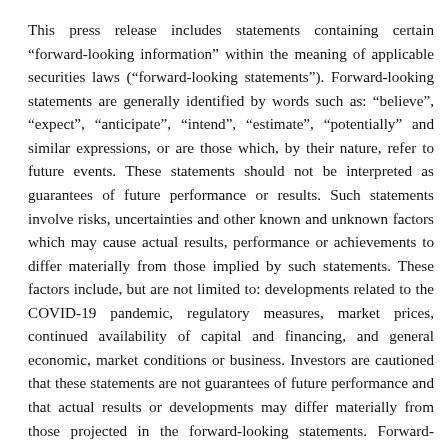This press release includes statements containing certain “forward-looking information” within the meaning of applicable securities laws (“forward-looking statements”). Forward-looking statements are generally identified by words such as: “believe”, “expect”, “anticipate”, “intend”, “estimate”, “potentially” and similar expressions, or are those which, by their nature, refer to future events. These statements should not be interpreted as guarantees of future performance or results. Such statements involve risks, uncertainties and other known and unknown factors which may cause actual results, performance or achievements to differ materially from those implied by such statements. These factors include, but are not limited to: developments related to the COVID-19 pandemic, regulatory measures, market prices, continued availability of capital and financing, and general economic, market conditions or business. Investors are cautioned that these statements are not guarantees of future performance and that actual results or developments may differ materially from those projected in the forward-looking statements. Forward-looking statements are